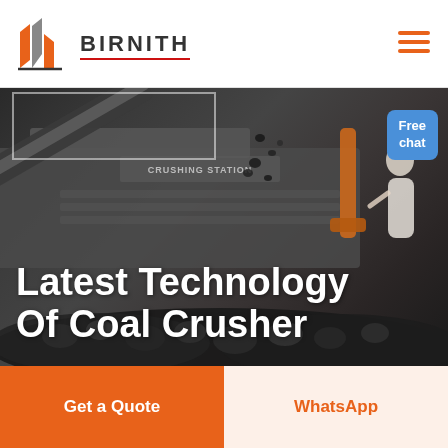[Figure (logo): Birnith company logo with orange building icon and brand name BIRNITH with red underline]
[Figure (photo): Industrial coal crushing station machinery with coal pieces, dark moody background]
Latest Technology Of Coal Crusher
Free chat
Get a Quote
WhatsApp